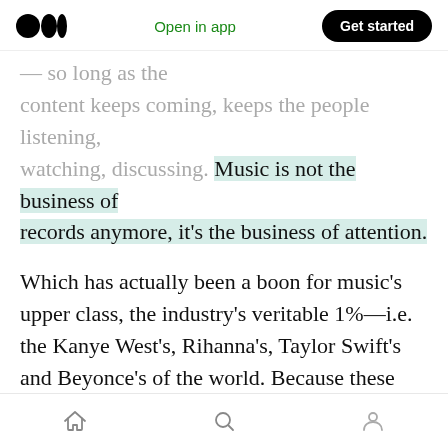Open in app | Get started
— so long as the content keeps coming, keeps the people listening, watching, discussing. Music is not the business of records anymore, it's the business of attention.
Which has actually been a boon for music's upper class, the industry's veritable 1%—i.e. the Kanye West's, Rihanna's, Taylor Swift's and Beyonce's of the world. Because these artists are now so famous that attention takes care of itself. They need not feed the beast, because the beast actually feeds on them.
Home | Search | Profile